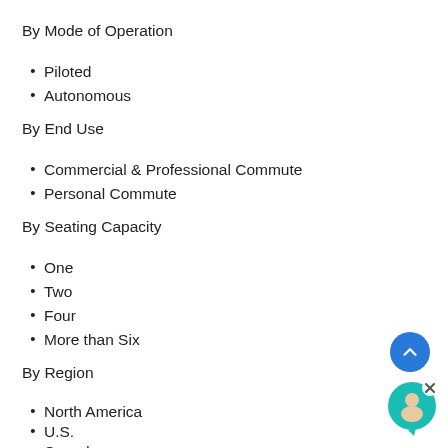By Mode of Operation
Piloted
Autonomous
By End Use
Commercial & Professional Commute
Personal Commute
By Seating Capacity
One
Two
Four
More than Six
By Region
North America
U.S.
Canada